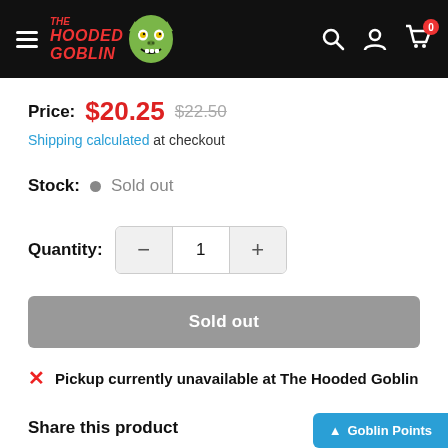[Figure (screenshot): The Hooded Goblin website navigation bar with hamburger menu, logo, and icons for search, account, and cart (0 items)]
Price: $20.25  $22.50
Shipping calculated at checkout
Stock: • Sold out
Quantity: 1
Sold out
✗ Pickup currently unavailable at The Hooded Goblin
Share this product
Goblin Points